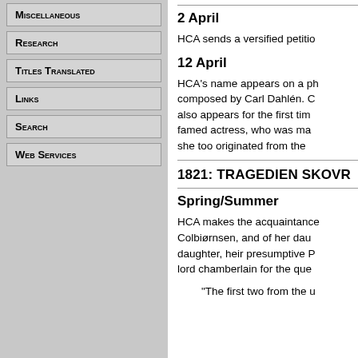Miscellaneous
Research
Titles Translated
Links
Search
Web Services
2 April
HCA sends a versified petitio
12 April
HCA's name appears on a ph composed by Carl Dahlén. C also appears for the first tim famed actress, who was ma she too originated from the
1821: TRAGEDIEN SKOVR
Spring/Summer
HCA makes the acquaintance Colbiørnsen, and of her dau daughter, heir presumptive P lord chamberlain for the que
"The first two from the u